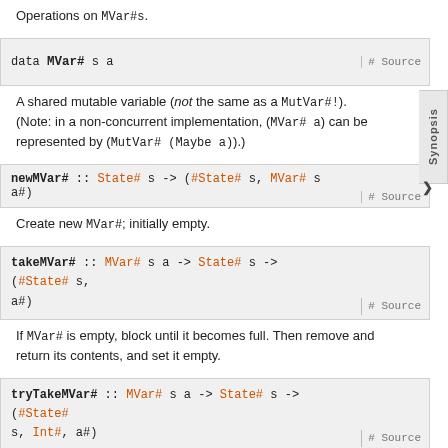Operations on MVar#s.
data MVar# s a   # Source
A shared mutable variable (not the same as a MutVar#!). (Note: in a non-concurrent implementation, (MVar# a) can be represented by (MutVar# (Maybe a)).)
newMVar# :: State# s -> (#State# s, MVar# s a#)   # Source
Create new MVar#; initially empty.
takeMVar# :: MVar# s a -> State# s -> (#State# s, a#)   # Source
If MVar# is empty, block until it becomes full. Then remove and return its contents, and set it empty.
tryTakeMVar# :: MVar# s a -> State# s -> (#State# s, Int#, a#)   # Source
If MVar# is empty, immediately return with integer 0 and value undefined. Otherwise, return with integer 1 and contents of MVar#, and set MVar# empty.